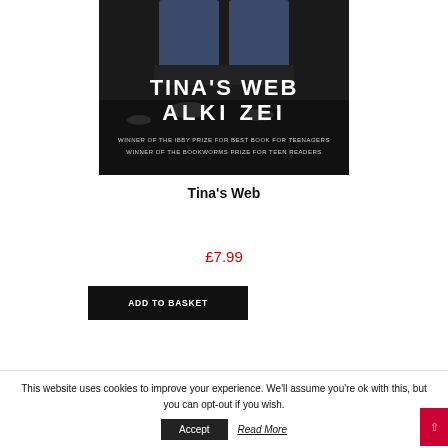[Figure (illustration): Book cover of 'Tina's Web' by Alki Zei. Dark background showing feet/legs in jeans. Text reads: TINA'S WEB, ALKI ZEI, WINNER OF THE IBBY PRIZE FOR BEST BOOK FOR TEENAGERS, WINNER OF THE BOOKWORMS PRIZE FOR TEEN READERS.]
Tina’s Web
£7.99
ADD TO BASKET
This website uses cookies to improve your experience. We’ll assume you’re ok with this, but you can opt-out if you wish.
Accept
Read More